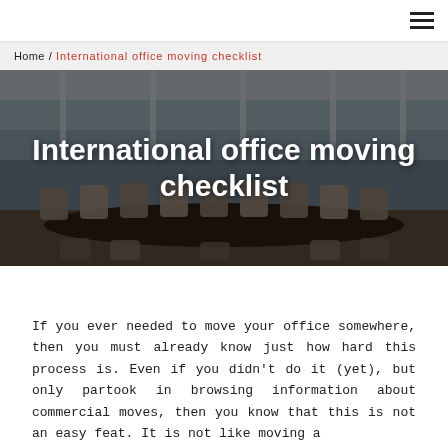≡ (hamburger menu)
Home / International office moving checklist
[Figure (photo): Photo of a modern empty conference room with floor-to-ceiling windows, a long dark table, and rows of office chairs, with an industrial-style ceiling. The image is dimmed with a dark overlay.]
International office moving checklist
If you ever needed to move your office somewhere, then you must already know just how hard this process is. Even if you didn't do it (yet), but only partook in browsing information about commercial moves, then you know that this is not an easy feat. It is not like moving a